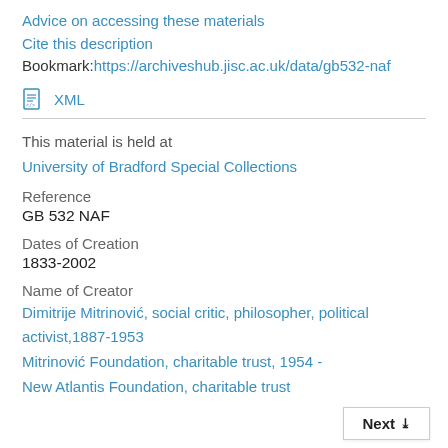Advice on accessing these materials
Cite this description
Bookmark:https://archiveshub.jisc.ac.uk/data/gb532-naf
[Figure (other): XML file icon with link labeled XML]
This material is held at
University of Bradford Special Collections
Reference
GB 532 NAF
Dates of Creation
1833-2002
Name of Creator
Dimitrije Mitrinović, social critic, philosopher, political activist,1887-1953
Mitrinović Foundation, charitable trust, 1954 -
New Atlantis Foundation, charitable trust